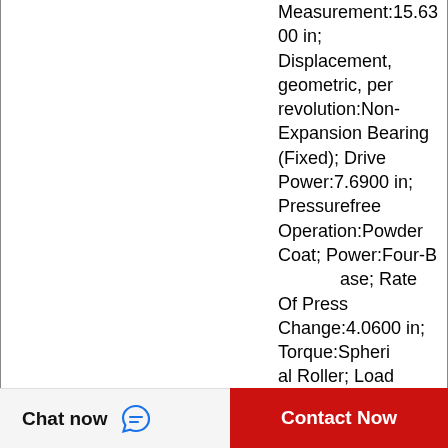Measurement:15.6300 in; Displacement, geometric, per revolution:Non-Expansion Bearing (Fixed); Drive Power:7.6900 in; Pressurefree Operation:Powder Coat; Power:Four-Bolt Base; Rate Of Pressure Change:4.0600 in; Torque:Spherical Roller; Load Pressure:Triple-lip contacting, self-purging nitrile rubber seal; Flow:Round; Maximum Permissible Pilot Pressure:1.5600 in;
[Figure (screenshot): WhatsApp Online overlay icon with green circle and phone handset icon, with italic text 'WhatsApp Online' underneath]
Chat now
Contact Now